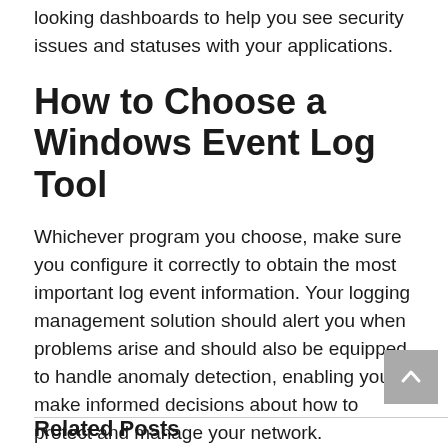looking dashboards to help you see security issues and statuses with your applications.
How to Choose a Windows Event Log Tool
Whichever program you choose, make sure you configure it correctly to obtain the most important log event information. Your logging management solution should alert you when problems arise and should also be equipped to handle anomaly detection, enabling you to make informed decisions about how to protect and manage your network.
Related Posts